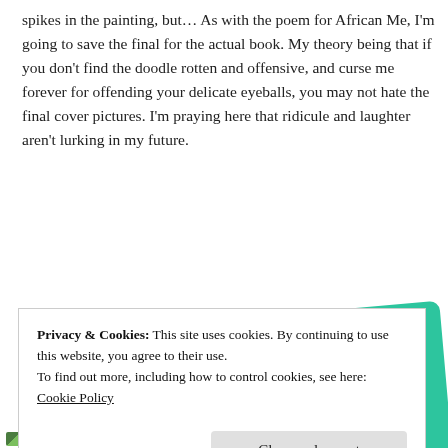spikes in the painting, but… As with the poem for African Me, I'm going to save the final for the actual book. My theory being that if you don't find the doodle rotten and offensive, and curse me forever for offending your delicate eyeballs, you may not hate the final cover pictures. I'm praying here that ridicule and laughter aren't lurking in my future.
[Figure (infographic): Advertisement for a podcast app. Bold text reads 'for podcast lovers.' with a red 'Download now' call-to-action link, alongside images of a dark grid-pattern card with a yellow square and a teal card showing cursive 'On'.]
Privacy & Cookies: This site uses cookies. By continuing to use this website, you agree to their use.
To find out more, including how to control cookies, see here: Cookie Policy
Close and accept
Voxavi Rough